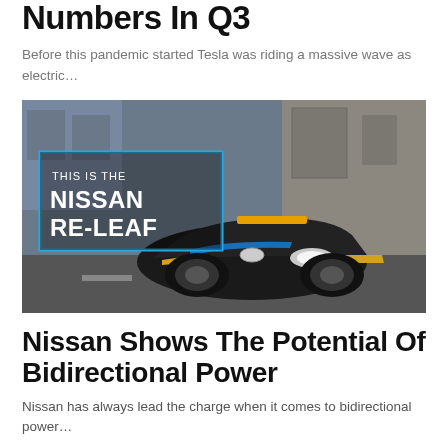Numbers In Q3
Before this pandemic started Tesla was riding a massive wave as electric…
[Figure (photo): A Nissan RE-LEAF electric vehicle in police livery (black, blue, and yellow) driving on a street, with a branded overlay text reading 'THIS IS THE NISSAN RE-LEAF' in a blue rectangle on the left side of the image.]
Nissan Shows The Potential Of Bidirectional Power
Nissan has always lead the charge when it comes to bidirectional power…